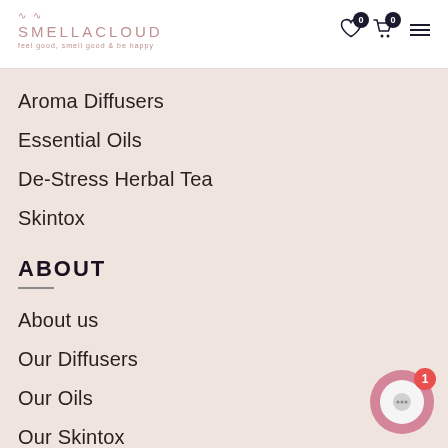SMELLACLOUD — feel good, smell good & be happy
Aroma Diffusers
Essential Oils
De-Stress Herbal Tea
Skintox
ABOUT
About us
Our Diffusers
Our Oils
Our Skintox
Our Tea
Aromatherapy
Everything about Essential Oils